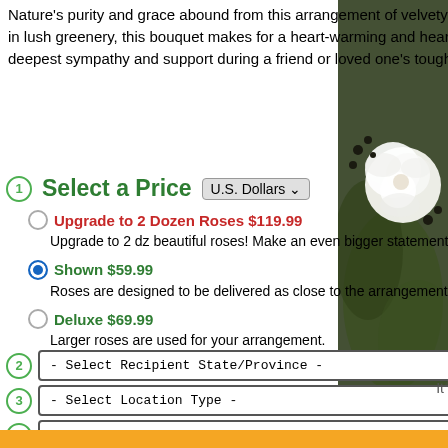Nature's purity and grace abound from this arrangement of velvety, white roses. Nestled in lush greenery, this bouquet makes for a heart-warming and heart-felt token of your deepest sympathy and support during a friend or loved one's toughest times.
Select a Price U.S. Dollars
Upgrade to 2 Dozen Roses $119.99 - Upgrade to 2 dz beautiful roses! Make an even bigger statement this time!
Shown $59.99 - Roses are designed to be delivered as close to the arrangement pictured as possible.
Deluxe $69.99 - Larger roses are used for your arrangement.
- Select Recipient State/Province -
- Select Location Type -
- Select Delivery Date -